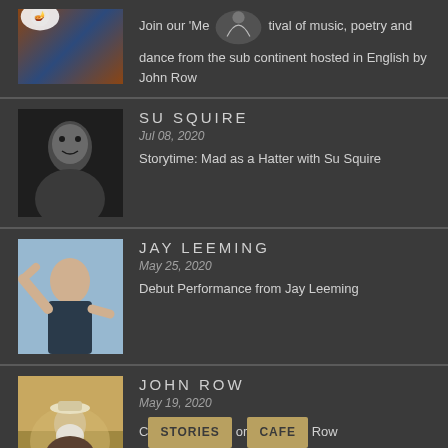[Figure (photo): Partial top entry: dancer image with lamp icon overlay and text about festival of music, poetry and dance from the sub continent hosted by John Row]
Join our 'Me...tival of music, poetry and dance from the sub continent hosted in English by John Row
[Figure (photo): Black and white portrait of Su Squire]
SU SQUIRE
Jul 08, 2020
Storytime: Mad as a Hatter with Su Squire
[Figure (photo): Jay Leeming performing with raised hand against light blue background]
JAY LEEMING
May 25, 2020
Debut Performance from Jay Leeming
[Figure (photo): John Row seated outdoors wearing a hat]
JOHN ROW
May 19, 2020
C...or...  Row  [STORIES] [CAFE] buttons